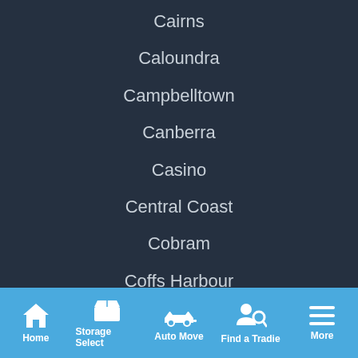Cairns
Caloundra
Campbelltown
Canberra
Casino
Central Coast
Cobram
Coffs Harbour
Coogee
Cooktown
Home  Storage Select  Auto Move  Find a Tradie  More